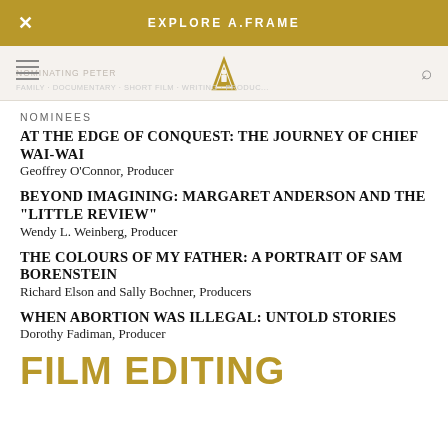EXPLORE A.FRAME
NOMINEES
AT THE EDGE OF CONQUEST: THE JOURNEY OF CHIEF WAI-WAI
Geoffrey O'Connor, Producer
BEYOND IMAGINING: MARGARET ANDERSON AND THE "LITTLE REVIEW"
Wendy L. Weinberg, Producer
THE COLOURS OF MY FATHER: A PORTRAIT OF SAM BORENSTEIN
Richard Elson and Sally Bochner, Producers
WHEN ABORTION WAS ILLEGAL: UNTOLD STORIES
Dorothy Fadiman, Producer
FILM EDITING